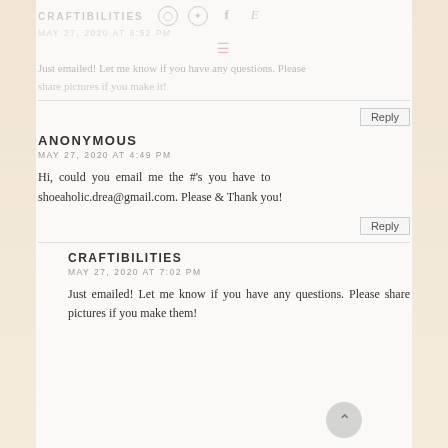CRAFTIBILITIES [social icons] MAY 27, 2020 AT 6:52 PM
Just emailed! Let me know if you have any questions. Please share pictures if you make it!
Reply
ANONYMOUS
MAY 27, 2020 AT 4:49 PM
Hi, could you email me the #'s you have to shoeaholic.drea@gmail.com. Please & Thank you!
Reply
CRAFTIBILITIES
MAY 27, 2020 AT 7:02 PM
Just emailed! Let me know if you have any questions. Please share pictures if you make them!